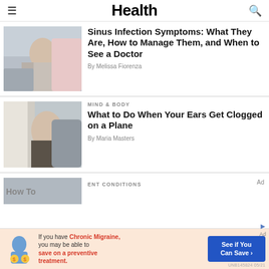Health
Sinus Infection Symptoms: What They Are, How to Manage Them, and When to See a Doctor
By Melissa Fiorenza
MIND & BODY
What to Do When Your Ears Get Clogged on a Plane
By Maria Masters
ENT CONDITIONS
If you have Chronic Migraine, you may be able to save on a preventive treatment.
See if You Can Save
Ad
UNB145824 05/21